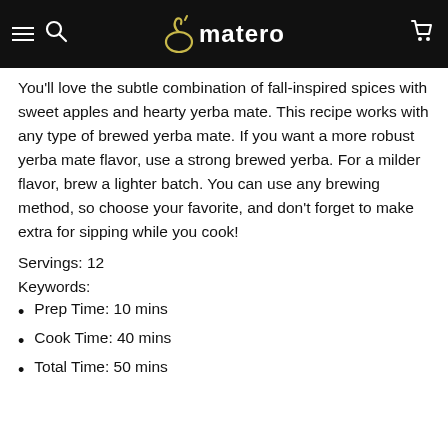omatero
You'll love the subtle combination of fall-inspired spices with sweet apples and hearty yerba mate. This recipe works with any type of brewed yerba mate. If you want a more robust yerba mate flavor, use a strong brewed yerba. For a milder flavor, brew a lighter batch. You can use any brewing method, so choose your favorite, and don't forget to make extra for sipping while you cook!
Servings: 12
Keywords:
Prep Time: 10 mins
Cook Time: 40 mins
Total Time: 50 mins